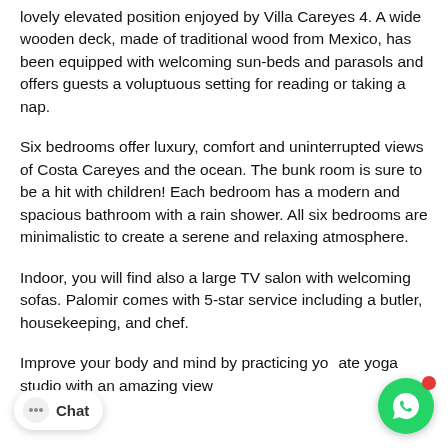lovely elevated position enjoyed by Villa Careyes 4. A wide wooden deck, made of traditional wood from Mexico, has been equipped with welcoming sun-beds and parasols and offers guests a voluptuous setting for reading or taking a nap.
Six bedrooms offer luxury, comfort and uninterrupted views of Costa Careyes and the ocean. The bunk room is sure to be a hit with children! Each bedroom has a modern and spacious bathroom with a rain shower. All six bedrooms are minimalistic to create a serene and relaxing atmosphere.
Indoor, you will find also a large TV salon with welcoming sofas. Palomir comes with 5-star service including a butler, housekeeping, and chef.
Improve your body and mind by practicing yo... ate yoga studio with an amazing view... the ocean!